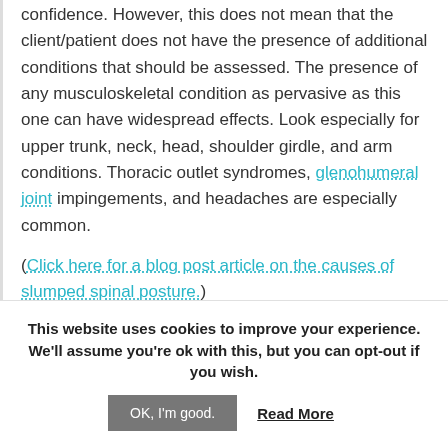confidence. However, this does not mean that the client/patient does not have the presence of additional conditions that should be assessed. The presence of any musculoskeletal condition as pervasive as this one can have widespread effects. Look especially for upper trunk, neck, head, shoulder girdle, and arm conditions. Thoracic outlet syndromes, glenohumeral joint impingements, and headaches are especially common.
(Click here for a blog post article on the causes of slumped spinal posture.)
This website uses cookies to improve your experience. We'll assume you're ok with this, but you can opt-out if you wish.
OK, I'm good.   Read More